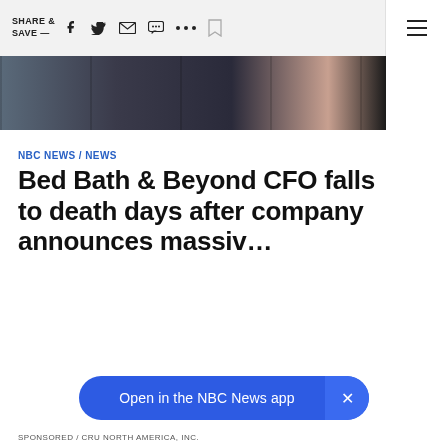SHARE & SAVE —
[Figure (photo): Dark photo strip showing blurry storefront windows with dark and muted tones]
NBC NEWS / NEWS
Bed Bath & Beyond CFO falls to death days after company announces massiv…
Open in the NBC News app
SPONSORED / CRU NORTH AMERICA, INC.